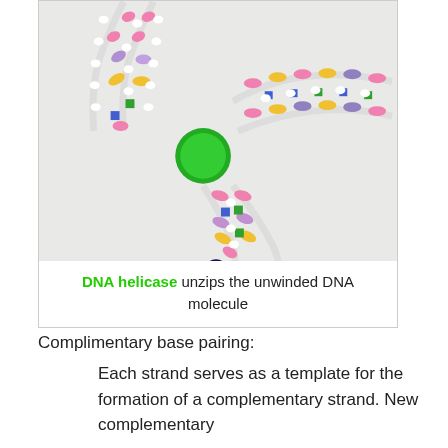[Figure (photo): A physical model of a DNA molecule made with colorful beads and pipe cleaners showing the double helix structure being unzipped, with a green circular piece representing DNA helicase at the replication fork.]
DNA helicase unzips the unwinded DNA molecule
Complimentary base pairing:
Each strand serves as a template for the formation of a complementary strand. New complementary nucleotides are then attract to the nucleotides of it is